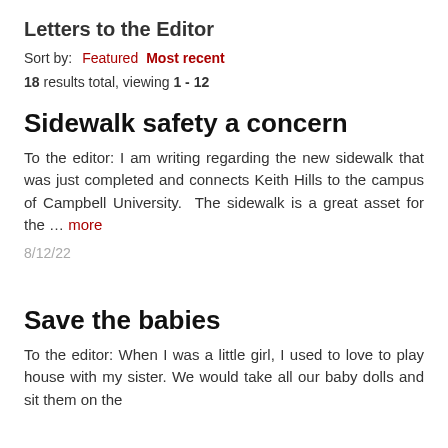Letters to the Editor
Sort by:  Featured  Most recent
18 results total, viewing 1 - 12
Sidewalk safety a concern
To the editor: I am writing regarding the new sidewalk that was just completed and connects Keith Hills to the campus of Campbell University.  The sidewalk is a great asset for the … more
8/12/22
Save the babies
To the editor: When I was a little girl, I used to love to play house with my sister. We would take all our baby dolls and sit them on the